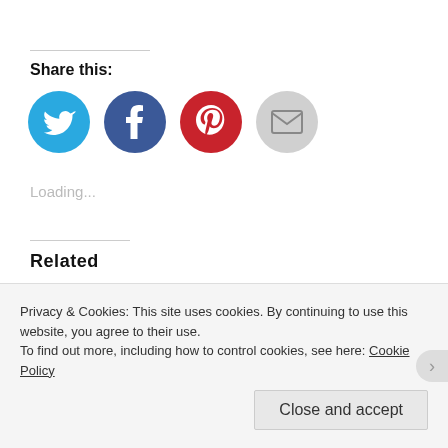Share this:
[Figure (other): Social sharing icons: Twitter (blue circle), Facebook (blue circle), Pinterest (red circle), Email (gray circle)]
Loading...
Related
Review: The Haunting of
Review: The Work of Art by
Privacy & Cookies: This site uses cookies. By continuing to use this website, you agree to their use. To find out more, including how to control cookies, see here: Cookie Policy
Close and accept